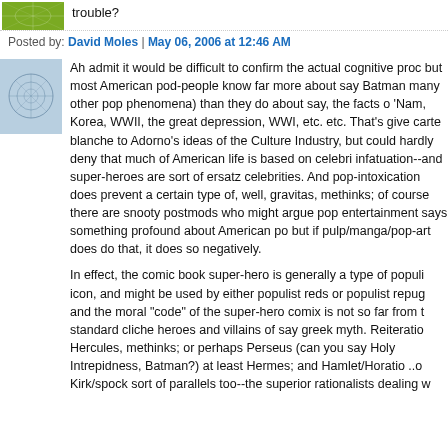trouble?
Posted by: David Moles | May 06, 2006 at 12:46 AM
Ah admit it would be difficult to confirm the actual cognitive proc but most American pod-people know far more about say Batman many other pop phenomena) than they do about say, the facts o 'Nam, Korea, WWII, the great depression, WWI, etc. etc. That's give carte blanche to Adorno's ideas of the Culture Industry, but could hardly deny that much of American life is based on celebri infatuation--and super-heroes are sort of ersatz celebrities. And pop-intoxication does prevent a certain type of, well, gravitas, methinks; of course there are snooty postmods who might argue pop entertainment says something profound about American po but if pulp/manga/pop-art does do that, it does so negatively.
In effect, the comic book super-hero is generally a type of populi icon, and might be used by either populist reds or populist repug and the moral "code" of the super-hero comix is not so far from t standard cliche heroes and villains of say greek myth. Reiteratio Hercules, methinks; or perhaps Perseus (can you say Holy Intrepidness, Batman?) at least Hermes; and Hamlet/Horatio ..o Kirk/spock sort of parallels too--the superior rationalists dealing w